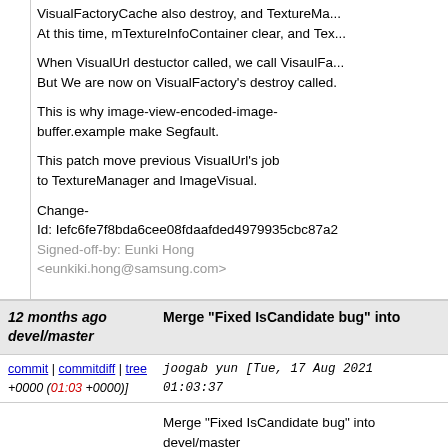VisualFactoryCache also destroy, and TextureManager. At this time, mTextureInfoContainer clear, and Tex...
When VisualUrl destuctor called, we call VisaulFa... But We are now on VisualFactory's destroy called.
This is why image-view-encoded-image-buffer.example make Segfault.
This patch move previous VisualUrl's job to TextureManager and ImageVisual.
Change-
Id: Iefc6fe7f8bda6cee08fdaafded4979935cbc87a2
Signed-off-by: Eunki Hong <eunkiki.hong@samsung.com>
12 months ago devel/master   Merge "Fixed IsCandidate bug" into
commit | commitdiff | tree +0000 (01:03 +0000)]   joogab yun [Tue, 17 Aug 2021 01:03:37
Merge "Fixed IsCandidate bug" into devel/master
12 months ago into devel/master   Merge "Change raw pointer to unique_ptr"
commit | commitdiff | tree +0000 (01:03 +0000)]   Bowon Ryu [Tue, 17 Aug 2021 01:03:23